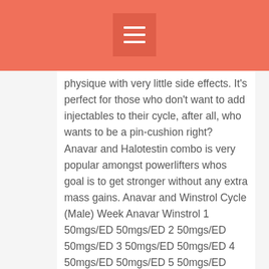Menu
physique with very little side effects. It's perfect for those who don't want to add injectables to their cycle, after all, who wants to be a pin-cushion right? Anavar and Halotestin combo is very popular amongst powerlifters whos goal is to get stronger without any extra mass gains. Anavar and Winstrol Cycle (Male) Week Anavar Winstrol 1 50mgs/ED 50mgs/ED 2 50mgs/ED 50mgs/ED 3 50mgs/ED 50mgs/ED 4 50mgs/ED 50mgs/ED 5 50mgs/ED 50mgs/ED 6 50mgs/ED 50mgs/ED. Cycle notes:* tabs = tablets* mgs = milligrams* Half Life, Anavar has a half-life of only 10 hours